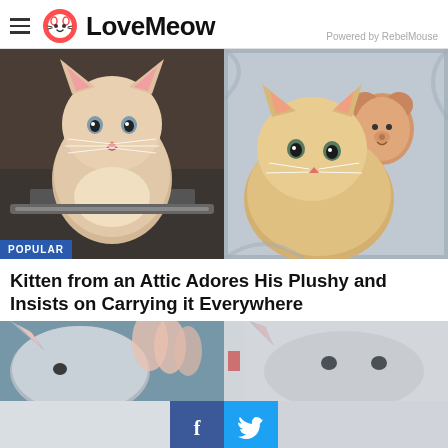LoveMeow — Powered by RebelMouse
[Figure (photo): Two-photo composite: left shows a small pale orange kitten sitting inside a bag looking up; right shows an orange kitten cuddled next to a teddy bear plush toy wrapped in a gray knit blanket. POPULAR badge in lower left.]
Kitten from an Attic Adores His Plushy and Insists on Carrying it Everywhere
[Figure (photo): Three-panel composite showing close-up photos of gray cats, partially visible. Social share buttons (Facebook and Twitter) overlaid on the bottom center portion.]